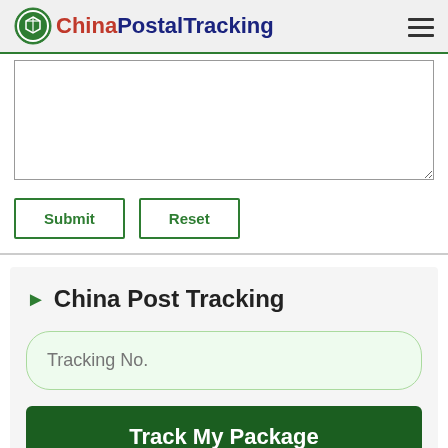ChinaPostalTracking
[Figure (screenshot): Textarea input box for tracking numbers]
Submit
Reset
China Post Tracking
Tracking No.
Track My Package